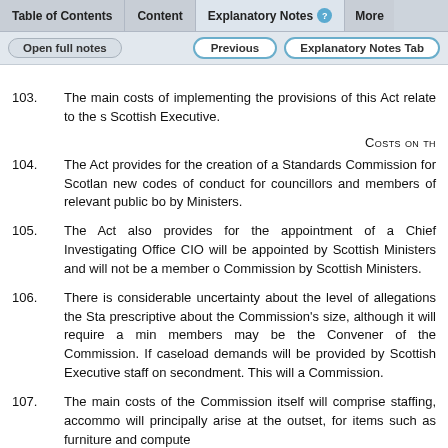Table of Contents | Content | Explanatory Notes | More
Open full notes | Previous | Explanatory Notes Tab
103. The main costs of implementing the provisions of this Act relate to the s Scottish Executive.
Costs on th
104. The Act provides for the creation of a Standards Commission for Scotland new codes of conduct for councillors and members of relevant public bo by Ministers.
105. The Act also provides for the appointment of a Chief Investigating Office CIO will be appointed by Scottish Ministers and will not be a member o Commission by Scottish Ministers.
106. There is considerable uncertainty about the level of allegations the Sta prescriptive about the Commission's size, although it will require a mini members may be the Convener of the Commission. If caseload demands will be provided by Scottish Executive staff on secondment. This will a Commission.
107. The main costs of the Commission itself will comprise staffing, accommo will principally arise at the outset, for items such as furniture and compute